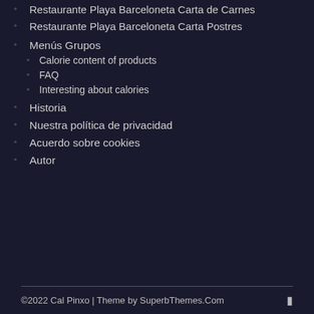Restaurante Playa Barceloneta Carta de Carnes
Restaurante Playa Barceloneta Carta Postres
Menús Grupos
Calorie content of products
FAQ
Interesting about calories
Historia
Nuestra política de privacidad
Acuerdo sobre cookies
Autor
©2022 Cal Pinxo | Theme by SuperbThemes.Com